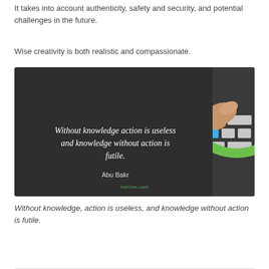It takes into account authenticity, safety and security, and potential challenges in the future.
Wise creativity is both realistic and compassionate.
[Figure (photo): Dark background image with a motivational quote in italic script: 'Without knowledge action is useless and knowledge without action is futile.' attributed to Abu Bakr. On the right side, a keyboard with a blue 'action' key being pressed by a finger, surrounded by a green circular ring.]
Without knowledge, action is useless, and knowledge without action is futile.